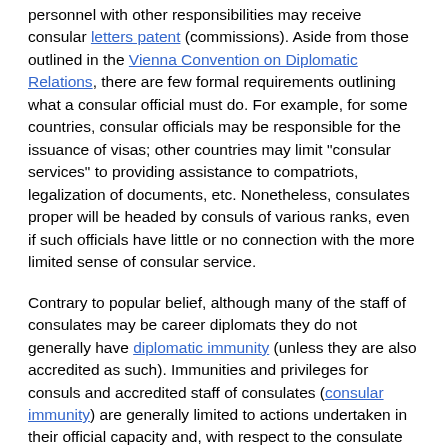personnel with other responsibilities may receive consular letters patent (commissions). Aside from those outlined in the Vienna Convention on Diplomatic Relations, there are few formal requirements outlining what a consular official must do. For example, for some countries, consular officials may be responsible for the issuance of visas; other countries may limit "consular services" to providing assistance to compatriots, legalization of documents, etc. Nonetheless, consulates proper will be headed by consuls of various ranks, even if such officials have little or no connection with the more limited sense of consular service.
Contrary to popular belief, although many of the staff of consulates may be career diplomats they do not generally have diplomatic immunity (unless they are also accredited as such). Immunities and privileges for consuls and accredited staff of consulates (consular immunity) are generally limited to actions undertaken in their official capacity and, with respect to the consulate itself, to those required for official duties. In practice, the extension and application of consular privileges and immunities can be subject to wide discrepancies from country to country.